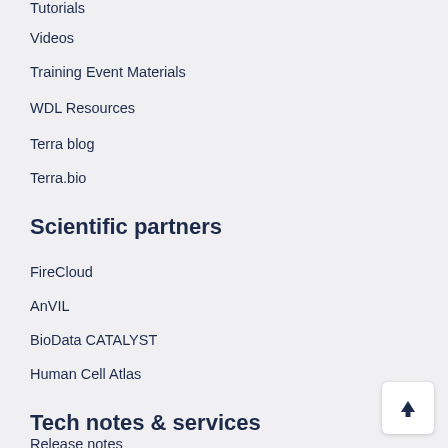Tutorials
Videos
Training Event Materials
WDL Resources
Terra blog
Terra.bio
Scientific partners
FireCloud
AnVIL
BioData CATALYST
Human Cell Atlas
Tech notes & services
Release notes